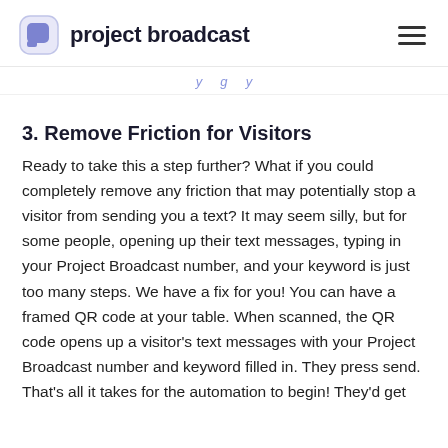project broadcast
…y g y
3. Remove Friction for Visitors
Ready to take this a step further? What if you could completely remove any friction that may potentially stop a visitor from sending you a text? It may seem silly, but for some people, opening up their text messages, typing in your Project Broadcast number, and your keyword is just too many steps. We have a fix for you! You can have a framed QR code at your table. When scanned, the QR code opens up a visitor's text messages with your Project Broadcast number and keyword filled in. They press send. That's all it takes for the automation to begin! They'd get